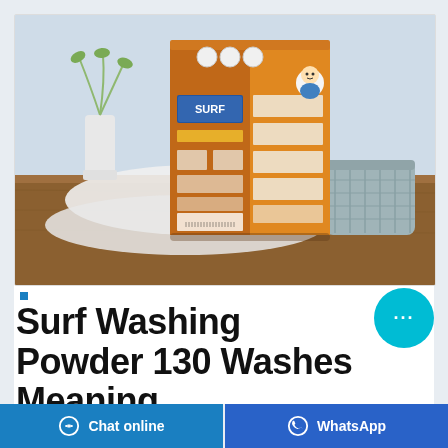[Figure (photo): Orange/yellow Surf washing powder detergent box standing upright on a wooden table, with white laundry and a grey basket in the background. Bright, clean product photography.]
Surf Washing Powder 130 Washes Meaning